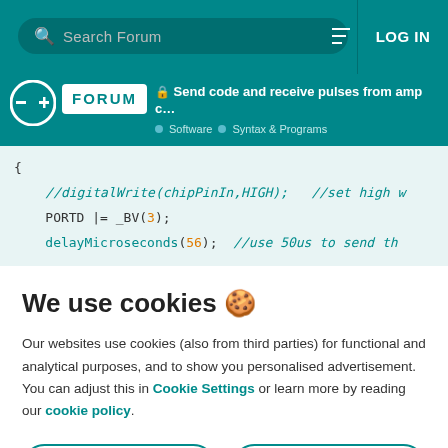Search Forum | LOG IN
FORUM | Send code and receive pulses from amp c... | Software > Syntax & Programs
[Figure (screenshot): Code snippet showing: { //digitalWrite(chipPinIn,HIGH); //set high w  PORTD |= _BV(3);  delayMicroseconds(56); //use 50us to send th]
We use cookies 🍪
Our websites use cookies (also from third parties) for functional and analytical purposes, and to show you personalised advertisement. You can adjust this in Cookie Settings or learn more by reading our cookie policy.
ONLY REQUIRED
ACCEPT ALL